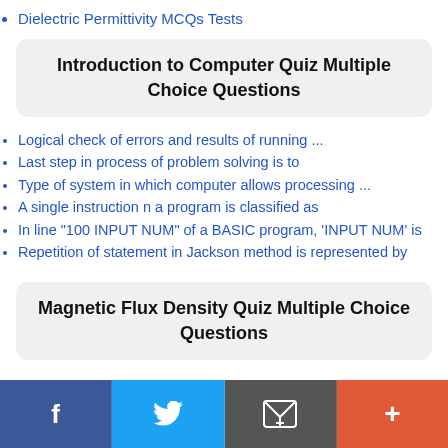Dielectric Permittivity MCQs Tests
Introduction to Computer Quiz Multiple Choice Questions
Logical check of errors and results of running ...
Last step in process of problem solving is to
Type of system in which computer allows processing ...
A single instruction n a program is classified as
In line "100 INPUT NUM" of a BASIC program, 'INPUT NUM' is
Repetition of statement in Jackson method is represented by
Magnetic Flux Density Quiz Multiple Choice Questions
f | Twitter | Email | +